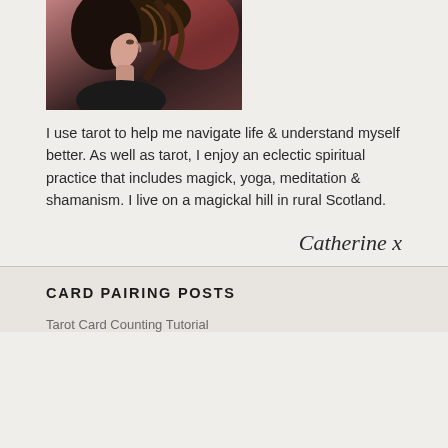[Figure (photo): Side profile photo of a woman with short dark hair, cropped to show head and shoulders, against a reddish background]
I use tarot to help me navigate life & understand myself better. As well as tarot, I enjoy an eclectic spiritual practice that includes magick, yoga, meditation & shamanism. I live on a magickal hill in rural Scotland.
Catherine x
CARD PAIRING POSTS
Tarot Card Counting Tutorial